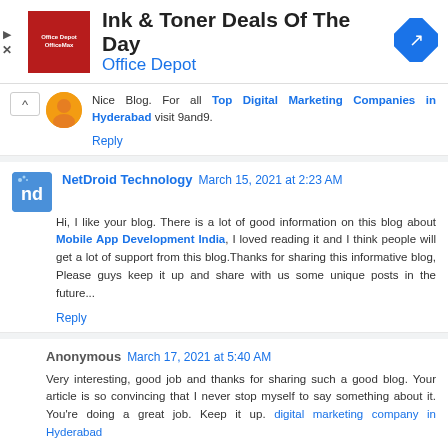[Figure (screenshot): Advertisement banner for Office Depot Ink & Toner Deals Of The Day, with red Office Depot/OfficeMax logo on left, blue navigation arrow icon on right, and play/close controls on far left.]
Nice Blog. For all Top Digital Marketing Companies in Hyderabad visit 9and9.
Reply
NetDroid Technology March 15, 2021 at 2:23 AM
Hi, I like your blog. There is a lot of good information on this blog about Mobile App Development India, I loved reading it and I think people will get a lot of support from this blog.Thanks for sharing this informative blog, Please guys keep it up and share with us some unique posts in the future...
Reply
Anonymous March 17, 2021 at 5:40 AM
Very interesting, good job and thanks for sharing such a good blog. Your article is so convincing that I never stop myself to say something about it. You're doing a great job. Keep it up. digital marketing company in Hyderabad
Reply